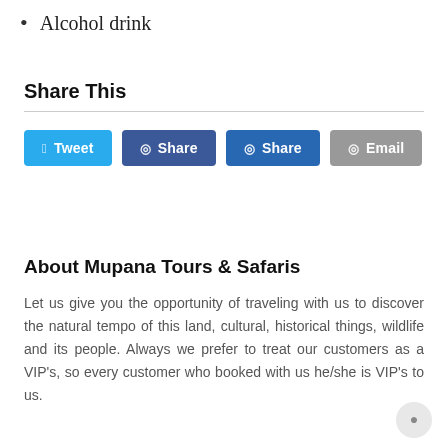Alcohol drink
Share This
[Figure (other): Social share buttons: Tweet (blue), Share (dark blue), Share (dark blue), Email (gray)]
About Mupana Tours & Safaris
Let us give you the opportunity of traveling with us to discover the natural tempo of this land, cultural, historical things, wildlife and its people. Always we prefer to treat our customers as a VIP's, so every customer who booked with us he/she is VIP's to us.